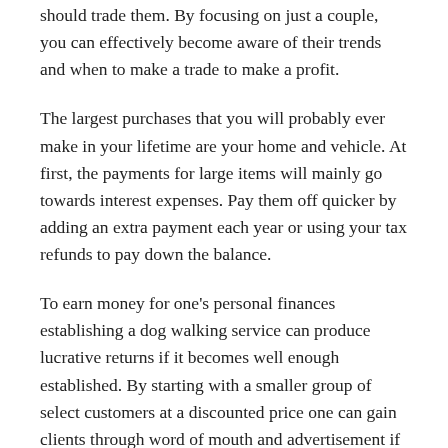should trade them. By focusing on just a couple, you can effectively become aware of their trends and when to make a trade to make a profit.
The largest purchases that you will probably ever make in your lifetime are your home and vehicle. At first, the payments for large items will mainly go towards interest expenses. Pay them off quicker by adding an extra payment each year or using your tax refunds to pay down the balance.
To earn money for one's personal finances establishing a dog walking service can produce lucrative returns if it becomes well enough established. By starting with a smaller group of select customers at a discounted price one can gain clients through word of mouth and advertisement if one wants to attract even more clients. The key to personal finance is to take initiative what ever path